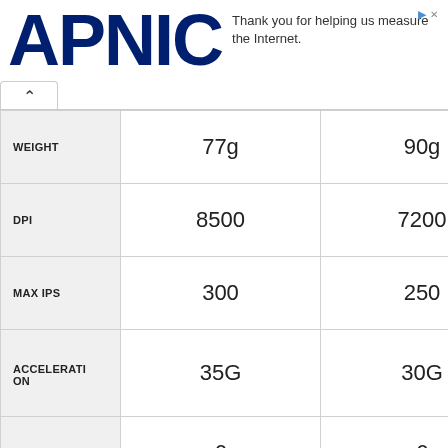[Figure (logo): APNIC logo in dark navy blue bold text]
Thank you for helping us measure the Internet.
|  | Col1 | Col2 |
| --- | --- | --- |
| WEIGHT | 77g | 90g |
| DPI | 8500 | 7200 |
| MAX IPS | 300 | 250 |
| ACCELERATION | 35G | 30G |
| BUTTONS | 6 | 6 |
| BUTTONS PROGRAMMABLE | Yes | Yes |
| ORIENTATION | Ambidexterous | Ambidexte... |
| HAND TYPE | Medium | Small, Med... |